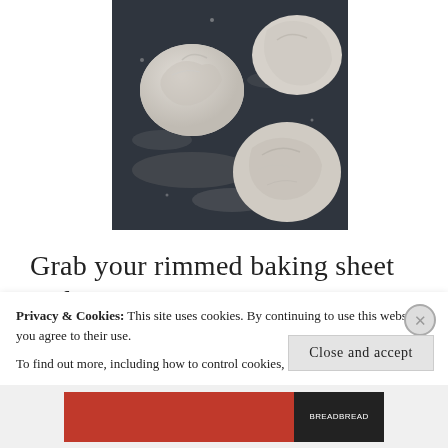[Figure (photo): Overhead view of three dough balls on a dark floured surface, photographed from above against a dark slate/chalkboard background dusted with white flour.]
Grab your rimmed baking sheet and flip it over. Arrange a piece of
Privacy & Cookies: This site uses cookies. By continuing to use this website, you agree to their use.
To find out more, including how to control cookies, see here: Cookie Policy

Close and accept